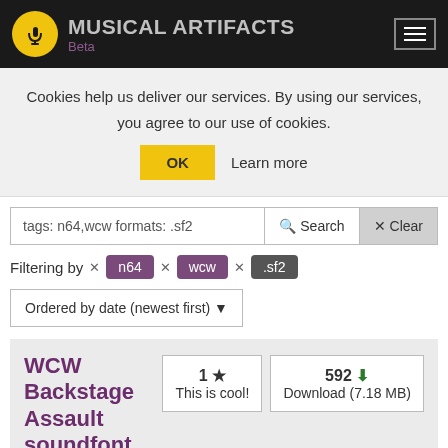MUSICAL ARTIFACTS Beta
Cookies help us deliver our services. By using our services, you agree to our use of cookies.
OK  Learn more
tags: n64,wcw formats: .sf2
Filtering by × n64 × wcw × .sf2
Ordered by date (newest first)
WCW Backstage Assault soundfont
1 ★ This is cool!
592 Download (7.18 MB)
by HandlebarOrionX
Uploaded on Mar 14, 2021 (and last updated on Mar 14,